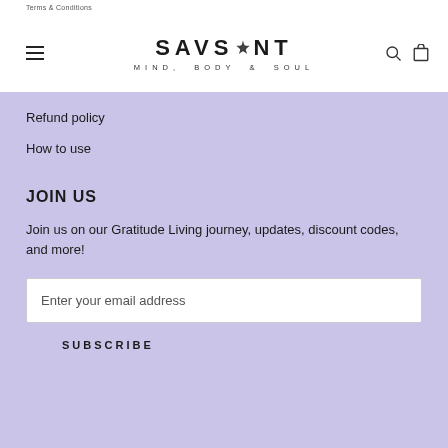Terms & Conditions
[Figure (logo): SAVSANT MIND, BODY & SOUL logo with decorative icon between SAV and ANT]
Refund policy
How to use
JOIN US
Join us on our Gratitude Living journey, updates, discount codes, and more!
Enter your email address
SUBSCRIBE